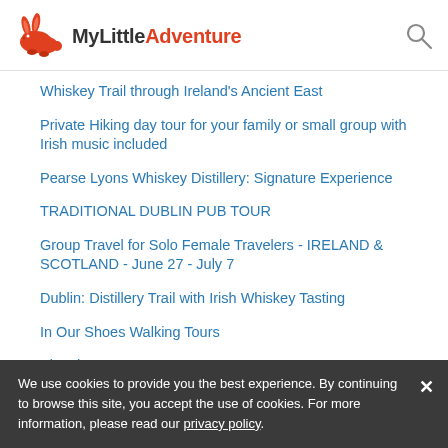MyLittleAdventure
Whiskey Trail through Ireland's Ancient East
Private Hiking day tour for your family or small group with Irish music included
Pearse Lyons Whiskey Distillery: Signature Experience
TRADITIONAL DUBLIN PUB TOUR
Group Travel for Solo Female Travelers - IRELAND & SCOTLAND - June 27 - July 7
Dublin: Distillery Trail with Irish Whiskey Tasting
In Our Shoes Walking Tours
Electric Scooter
The Best Of Dublin Walking Tour
Cliffs of Moher - Midday Tour
3 Day Northern Coast & Game of Thrones - Small Group Tour
Adult Admission Greyhound Racing
We use cookies to provide you the best experience. By continuing to browse this site, you accept the use of cookies. For more information, please read our privacy policy.